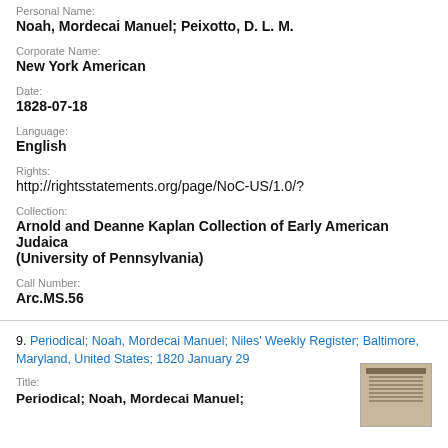Personal Name:
Noah, Mordecai Manuel; Peixotto, D. L. M.
Corporate Name:
New York American
Date:
1828-07-18
Language:
English
Rights:
http://rightsstatements.org/page/NoC-US/1.0/?
Collection:
Arnold and Deanne Kaplan Collection of Early American Judaica (University of Pennsylvania)
Call Number:
Arc.MS.56
9. Periodical; Noah, Mordecai Manuel; Niles' Weekly Register; Baltimore, Maryland, United States; 1820 January 29
Title:
Periodical; Noah, Mordecai Manuel;